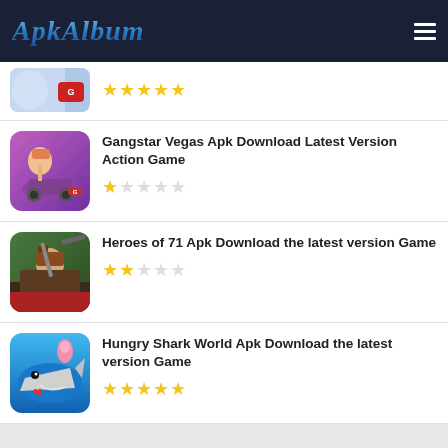ApkAlbum
[Figure (screenshot): Partial game thumbnail at top - cropped image of a game (Free Fire style) with garena logo]
★★★★★
[Figure (screenshot): Gangstar Vegas game thumbnail - person on motorcycle with purple background]
Gangstar Vegas Apk Download Latest Version Action Game
★☆☆☆☆
[Figure (screenshot): Heroes of 71 game thumbnail - soldier with sniper rifle]
Heroes of 71 Apk Download the latest version Game
★★☆☆☆
[Figure (screenshot): Hungry Shark World game thumbnail - shark underwater with diver]
Hungry Shark World Apk Download the latest version Game
★★★★★